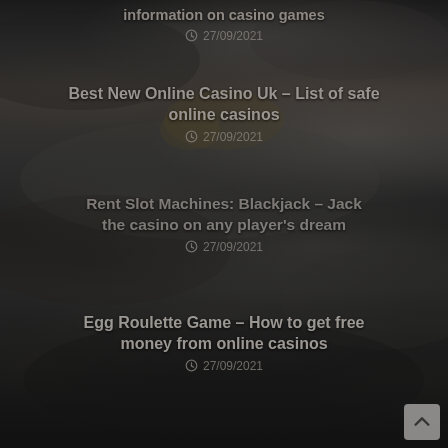[Figure (photo): Dark stormy cloudy sky background with moody dark tones, some warm orange/yellow foliage visible through clouds]
information on casino games
27/09/2021
Best New Online Casino Uk – List of safe online casinos
27/09/2021
Rent Slot Machines: Blackjack – Jack the casino on any player's dream
27/09/2021
Egg Roulette Game – How to get free money from online casinos
27/09/2021